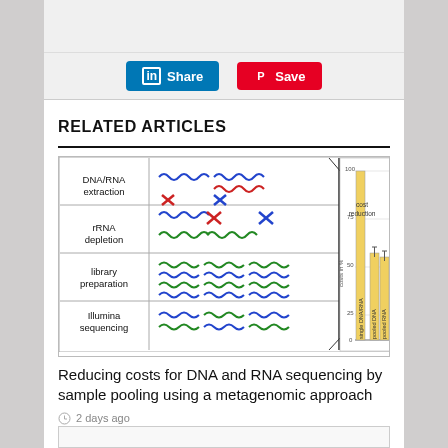[Figure (screenshot): LinkedIn Share button and Pinterest Save button on a grey background bar]
RELATED ARTICLES
[Figure (infographic): Scientific figure showing DNA/RNA extraction, rRNA depletion, library preparation, and Illumina sequencing workflow with colored wavy lines and X marks on left, and a bar chart showing costs in % for single DNA/RNA (~100%), pooled DNA (~50%), and pooled RNA (~50%) with 'cost reduction' annotation on right]
Reducing costs for DNA and RNA sequencing by sample pooling using a metagenomic approach
2 days ago